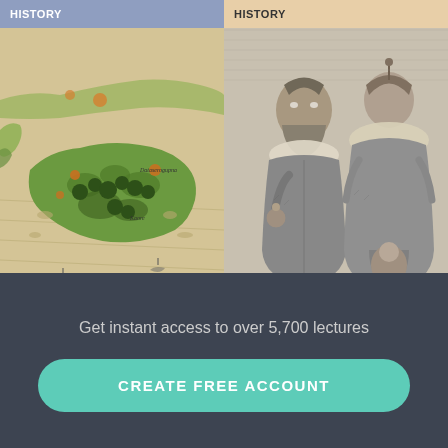[Figure (screenshot): Card showing a historical map illustration with 'HISTORY' badge overlay. Map depicts an island/land mass with green vegetation, trees, water and ships in an old cartographic style.]
[Figure (screenshot): Card showing a black and white engraving of two Tudor-era figures in period dress — a bearded man and a woman — with 'HISTORY' badge overlay.]
The Origins of the British Empire, 1500–1700
The Tudors – Faction in the Tudor Court, 1509–1603
Get instant access to over 5,700 lectures
CREATE FREE ACCOUNT